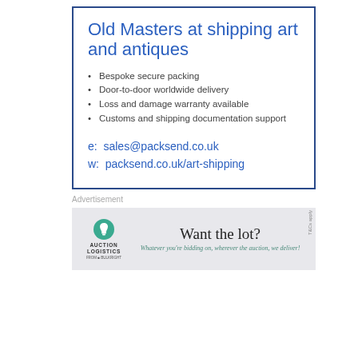Old Masters at shipping art and antiques
Bespoke secure packing
Door-to-door worldwide delivery
Loss and damage warranty available
Customs and shipping documentation support
e: sales@packsend.co.uk
w: packsend.co.uk/art-shipping
Advertisement
[Figure (infographic): Auction Logistics banner ad. Logo on left with teal figure icon and text AUCTION LOGISTICS. Main text: Want the lot? Whatever you're bidding on, wherever the auction, we deliver! T&C apply on right edge.]